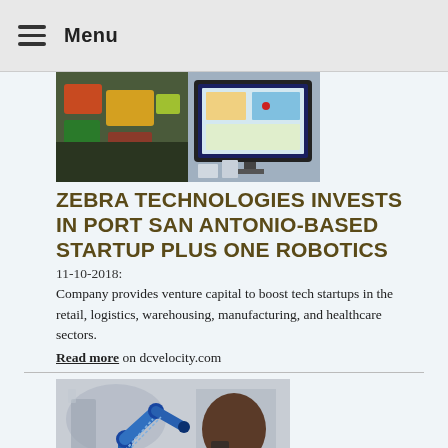≡  Menu
[Figure (photo): Photo of colorful coded items on a table next to a computer monitor display showing warehouse/logistics software]
ZEBRA TECHNOLOGIES INVESTS IN PORT SAN ANTONIO-BASED STARTUP PLUS ONE ROBOTICS
11-10-2018:
Company provides venture capital to boost tech startups in the retail, logistics, warehousing, manufacturing, and healthcare sectors.
Read more on dcvelocity.com
[Figure (photo): Photo of a person (man, back of head visible) looking at a blue robotic arm in a lab/workshop setting]